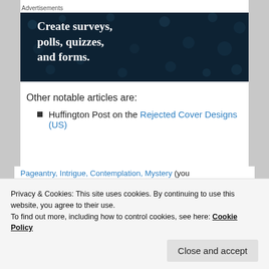Advertisements
[Figure (illustration): Dark navy blue advertisement banner with white bold serif text reading 'Create surveys, polls, quizzes, and forms.' with decorative dot pattern in background.]
Other notable articles are:
Huffington Post on the Rejected Cover Designs (US)
Privacy & Cookies: This site uses cookies. By continuing to use this website, you agree to their use.
To find out more, including how to control cookies, see here: Cookie Policy
Pageantry, Intrigue, Contemplation, Mystery (you